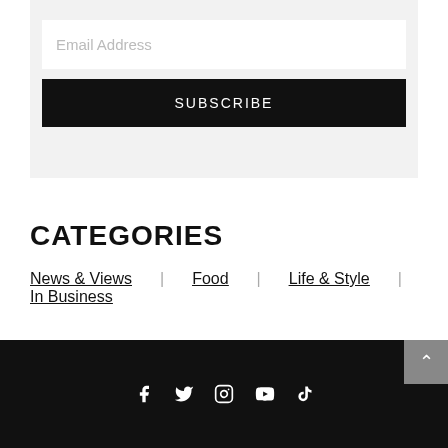Email Address
SUBSCRIBE
CATEGORIES
News & Views
Food
Life & Style
In Business
[Figure (infographic): Footer bar with social media icons: Facebook, Twitter, Instagram, YouTube, TikTok, and a scroll-to-top button]